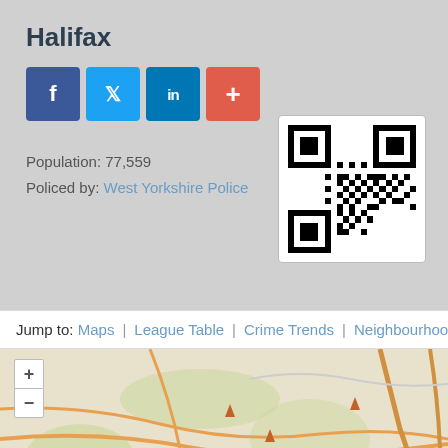Halifax
[Figure (infographic): Social media share icons: Facebook (blue), Twitter (light blue), LinkedIn (dark blue), Add/Plus (red-orange)]
Population: 77,559
Policed by: West Yorkshire Police
[Figure (other): QR code for Halifax crime statistics page]
Jump to: Maps | League Table | Crime Trends | Neighbourhood Team
[Figure (map): Street map showing Halifax area with Bradford label visible, map pins/markers visible, zoom controls (+/-) in top left]